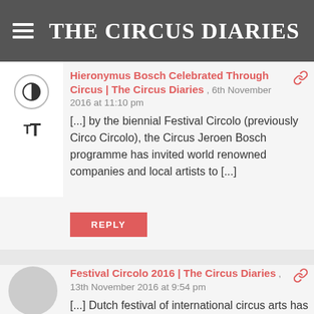THE CIRCUS DIARIES
Hieronymus Bosch Celebrated Through Circus | The Circus Diaries , 6th November 2016 at 11:10 pm
[...] by the biennial Festival Circolo (previously Circo Circolo), the Circus Jeroen Bosch programme has invited world renowned companies and local artists to [...]
REPLY
Festival Circolo 2016 | The Circus Diaries , 13th November 2016 at 9:54 pm
[...] Dutch festival of international circus arts has had a rebrand this year, from the tongue twisting Circo Circolo to the plainer Festival Circolo.  I am pleased to report, however, that